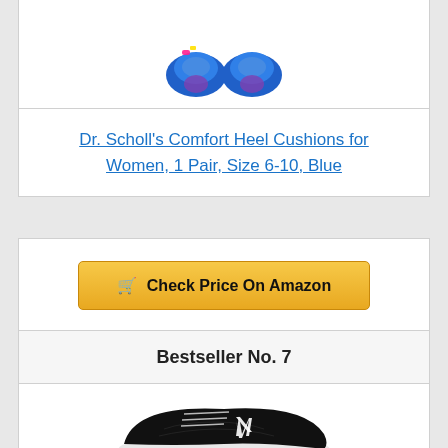[Figure (photo): Blue Dr. Scholl's heel cushion insoles, shown partially cropped at top of page]
Dr. Scholl's Comfort Heel Cushions for Women, 1 Pair, Size 6-10, Blue
[Figure (other): Check Price On Amazon button with shopping cart icon]
Bestseller No. 7
[Figure (photo): New Balance black and white running shoe, partially visible at bottom of page]